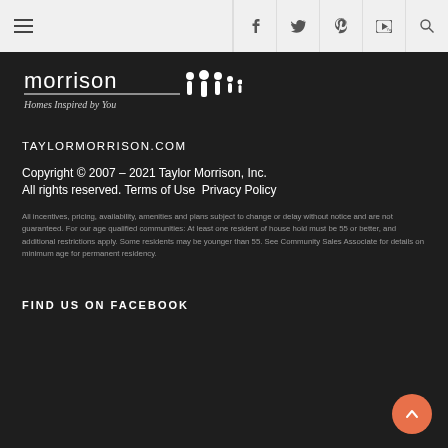Navigation bar with hamburger menu and social icons (Facebook, Twitter, Pinterest, YouTube, Search)
[Figure (logo): Taylor Morrison logo — 'morrison' wordmark with 'Homes Inspired by You' tagline and family silhouette icon]
TAYLORMORRISON.COM
Copyright © 2007 – 2021 Taylor Morrison, Inc. All rights reserved. Terms of Use Privacy Policy
All incentives, pricing, availability, amenities and plans subject to change or delay without notice and are not guaranteed. For our age qualified communities: At least one resident of house hold must be 55 or better, and additional restrictions apply. Some residents may be younger than 55. See Community Sales Associate for details on minimum age for permanent residency.
FIND US ON FACEBOOK